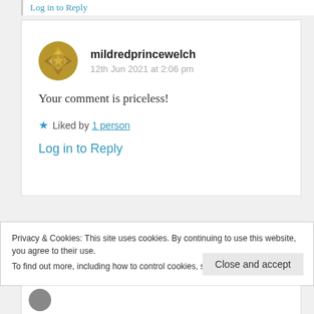Log in to Reply (top link, partial)
mildredprincewelch
12th Jun 2021 at 2:06 pm
Your comment is priceless!
★ Liked by 1 person
Log in to Reply
Privacy & Cookies: This site uses cookies. By continuing to use this website, you agree to their use.
To find out more, including how to control cookies, see here: Cookie Policy
Close and accept